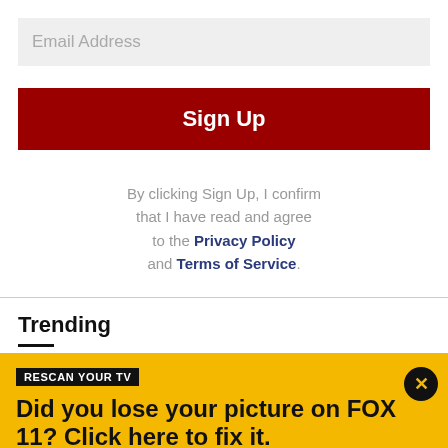Email Address
[Figure (screenshot): Red Sign Up button]
By clicking Sign Up, I confirm that I have read and agree to the Privacy Policy and Terms of Service.
Trending
RESCAN YOUR TV
Did you lose your picture on FOX 11? Click here to fix it.
You will need to rescan your television set on August 24, 2022, at 1:00 p.m. PT in order to continue receiving our broadcast. Tap for details on how to rescan your TV.